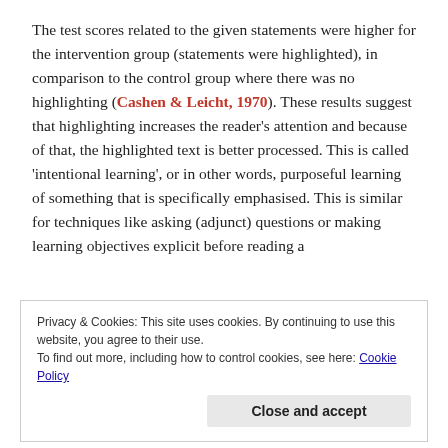The test scores related to the given statements were higher for the intervention group (statements were highlighted), in comparison to the control group where there was no highlighting (Cashen & Leicht, 1970). These results suggest that highlighting increases the reader's attention and because of that, the highlighted text is better processed. This is called 'intentional learning', or in other words, purposeful learning of something that is specifically emphasised. This is similar for techniques like asking (adjunct) questions or making learning objectives explicit before reading a
Privacy & Cookies: This site uses cookies. By continuing to use this website, you agree to their use.
To find out more, including how to control cookies, see here: Cookie Policy
been made explicit through emphasis, questions,